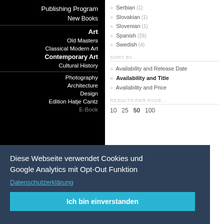Serbian (1)
Slovakian (1)
Slovenian (1)
Spanish (26)
Swedish (4)
Publishing Program
New Books
Art
Old Masters
Classical Modern Art
Contemporary Art
Cultural History
Photography
Architecture
Design
Edition Hatje Cantz
SORT BY...
Availability and Release Date
Availability and Title
Availability and Price
RESULTS PER PAGE...
10  25  50  100
Diese Webseite verwendet Cookies und Google Analytics mit Opt-Out Funktion
Datenschutzerklärung
Ich bin einverstanden